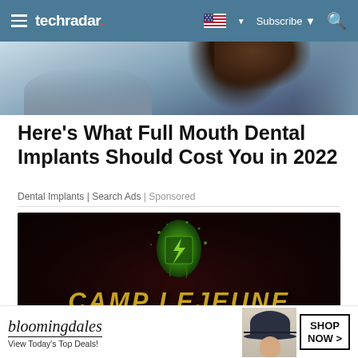techradar | Subscribe
[Figure (photo): Partial view of a woman from behind, hair visible, cropped hero image]
Here's What Full Mouth Dental Implants Should Cost You in 2022
Dental Implants | Search Ads | Sponsored
[Figure (photo): Camp Lejeune Free Case Review advertisement banner with green splash graphic on dark background and gold text]
[Figure (photo): Bloomingdale's advertisement banner: 'bloomingdales View Today's Top Deals! SHOP NOW >']